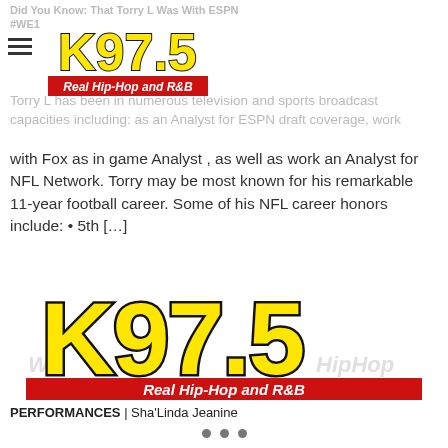Did You Know: That Torry L Was With ESPN #WE1
[Figure (logo): K97.5 Real Hip-Hop and R&B small logo in page header]
Torry L has been in numerous television and sports broadcast capacities including: as an Analyst for ESPN draft coverage, work with Fox as in game Analyst , as well as work an Analyst for NFL Network. Torry may be most known for his remarkable 11-year football career. Some of his NFL career honors include: • 5th […]
[Figure (logo): K97.5 Real Hip-Hop and R&B large logo]
PERFORMANCES | Sha'Linda Jeanine